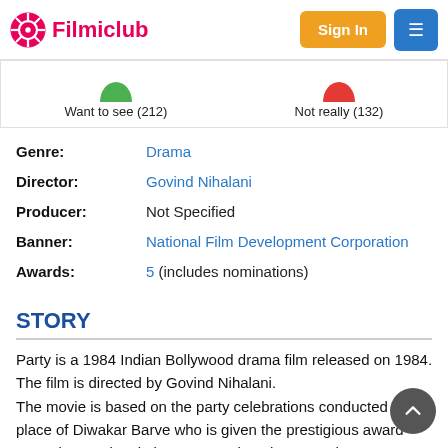Filmiclub — Sign In | Menu
[Figure (infographic): Voting row showing green thumbs-up 'Want to see (212)' and red thumbs-down 'Not really (132)']
| Genre: | Drama |
| Director: | Govind Nihalani |
| Producer: | Not Specified |
| Banner: | National Film Development Corporation |
| Awards: | 5 (includes nominations) |
STORY
Party is a 1984 Indian Bollywood drama film released on 1984. The film is directed by Govind Nihalani.
The movie is based on the party celebrations conducted at the place of Diwakar Barve who is given the prestigious award named as National Literary Award. In the party, there